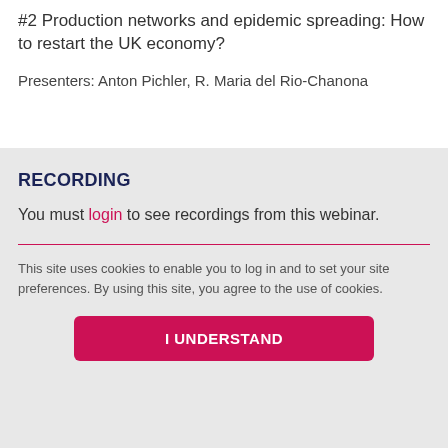#2 Production networks and epidemic spreading: How to restart the UK economy?
Presenters: Anton Pichler, R. Maria del Rio-Chanona
RECORDING
You must login to see recordings from this webinar.
This site uses cookies to enable you to log in and to set your site preferences. By using this site, you agree to the use of cookies.